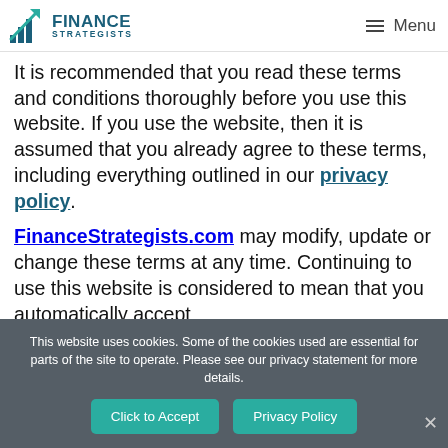Finance Strategists | Menu
It is recommended that you read these terms and conditions thoroughly before you use this website. If you use the website, then it is assumed that you already agree to these terms, including everything outlined in our privacy policy.
FinanceStrategists.com may modify, update or change these terms at any time. Continuing to use this website is considered to mean that you automatically accept
This website uses cookies. Some of the cookies used are essential for parts of the site to operate. Please see our privacy statement for more details.